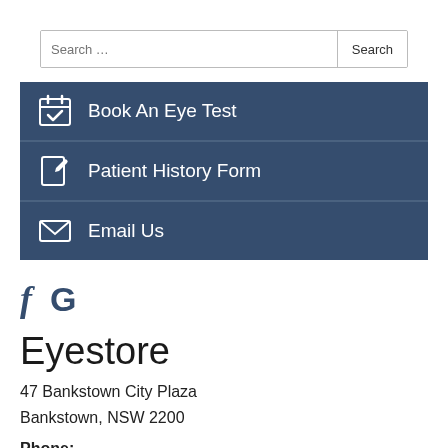Search ...
Book An Eye Test
Patient History Form
Email Us
[Figure (other): Social media icons: Facebook (f) and Google (G)]
Eyestore
47 Bankstown City Plaza
Bankstown, NSW 2200
Phone: